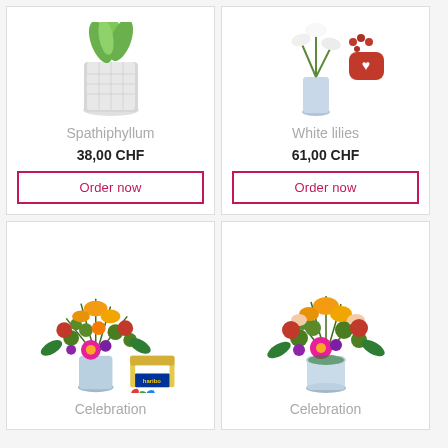[Figure (photo): Product photo of Spathiphyllum plant in white textured pot]
Spathiphyllum
38,00 CHF
Order now
[Figure (photo): Product photo of White lilies bouquet with chocolates]
White lilies
61,00 CHF
Order now
[Figure (photo): Product photo of Celebration bouquet with colorful flowers and candy box]
Celebration
[Figure (photo): Product photo of Celebration bouquet with colorful flowers in vase]
Celebration